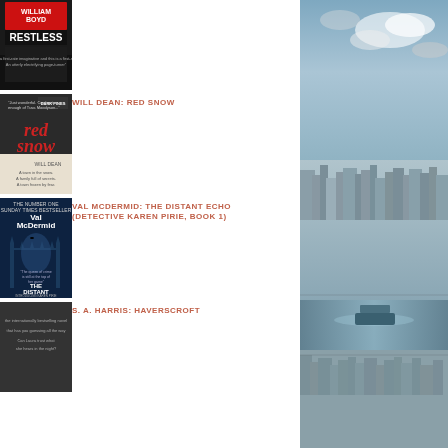[Figure (photo): Book cover: William Boyd - Restless]
[Figure (photo): Book cover: Will Dean - Red Snow]
WILL DEAN: RED SNOW
[Figure (photo): Book cover: Val McDermid - The Distant Echo (Detective Karen Pirie, Book 1)]
VAL MCDERMID: THE DISTANT ECHO (DETECTIVE KAREN PIRIE, BOOK 1)
[Figure (photo): Book cover: S. A. Harris - Haverscroft]
S. A. HARRIS: HAVERSCROFT
[Figure (photo): Aerial photo of London city and river Thames]